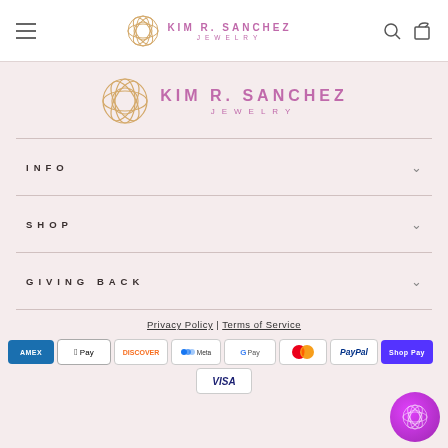KIM R. SANCHEZ JEWELRY — navigation bar with hamburger menu, logo, search and cart icons
[Figure (logo): Kim R. Sanchez Jewelry logo — geometric flower/mandala circle in gold, brand name in pink/magenta]
INFO
SHOP
GIVING BACK
Privacy Policy | Terms of Service
[Figure (infographic): Row of payment method icons: Amex, Apple Pay, Discover, Meta Pay, Google Pay, Mastercard, PayPal, Shop Pay, Visa]